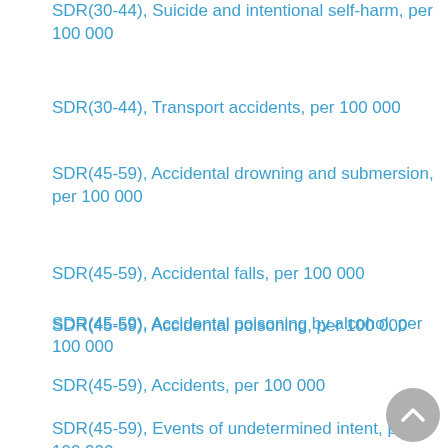SDR(30-44), Suicide and intentional self-harm, per 100 000
SDR(30-44), Transport accidents, per 100 000
SDR(45-59), Accidental drowning and submersion, per 100 000
SDR(45-59), Accidental falls, per 100 000
SDR(45-59), Accidental poisoning by alcohol, per 100 000
SDR(45-59), Accidental poisoning, per 100 000
SDR(45-59), Accidents, per 100 000
SDR(45-59), Events of undetermined intent, per 100 000